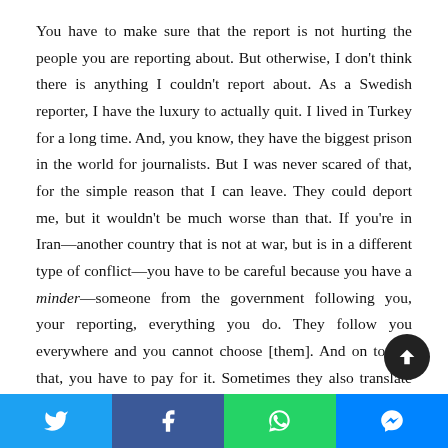You have to make sure that the report is not hurting the people you are reporting about. But otherwise, I don't think there is anything I couldn't report about. As a Swedish reporter, I have the luxury to actually quit. I lived in Turkey for a long time. And, you know, they have the biggest prison in the world for journalists. But I was never scared of that, for the simple reason that I can leave. They could deport me, but it wouldn't be much worse than that. If you're in Iran—another country that is not at war, but is in a different type of conflict—you have to be careful because you have a minder—someone from the government following you, your reporting, everything you do. They follow you everywhere and you cannot choose [them]. And on top of that, you have to pay for it. Sometimes they also translate for you—of course, then you have to do double translation after you leave the co... Then, you have to be careful about the people you meet—the